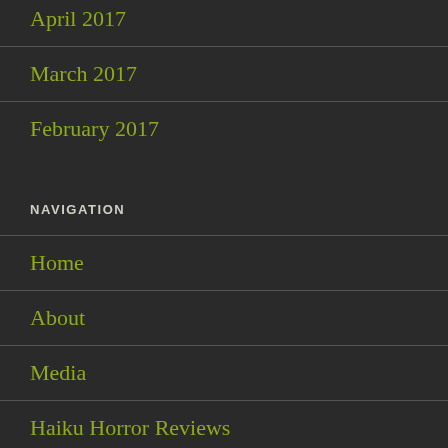April 2017
March 2017
February 2017
NAVIGATION
Home
About
Media
Haiku Horror Reviews